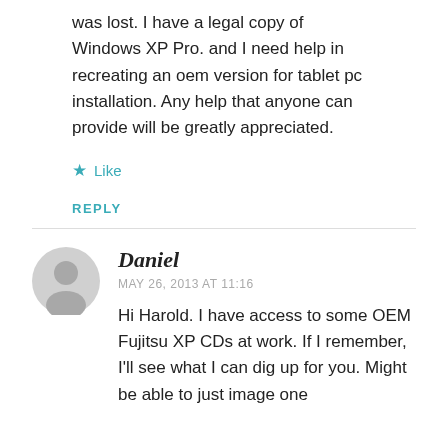was lost. I have a legal copy of Windows XP Pro. and I need help in recreating an oem version for tablet pc installation. Any help that anyone can provide will be greatly appreciated.
★ Like
REPLY
Daniel
MAY 26, 2013 AT 11:16
Hi Harold. I have access to some OEM Fujitsu XP CDs at work. If I remember, I'll see what I can dig up for you. Might be able to just image one